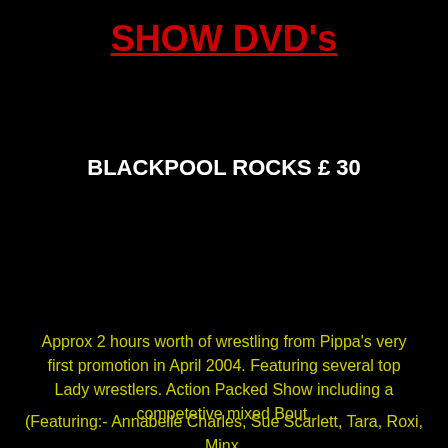SHOW DVD's
BLACKPOOL ROCKS £ 30
Approx 2 hours worth of wrestling from Pippa's very first promotion in April 2004. Featuring several top Lady wrestlers. Action Packed Show including a competetive mixed Bout.
(Featuring:- Annabelle Charles, Sue Scarlett, Tara, Roxi, Minx,